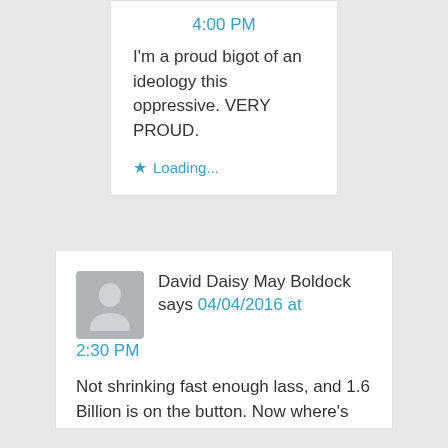4:00 PM
I'm a proud bigot of an ideology this oppressive. VERY PROUD.
Loading...
David Daisy May Boldock says 04/04/2016 at 2:30 PM
Not shrinking fast enough lass, and 1.6 Billion is on the button. Now where's